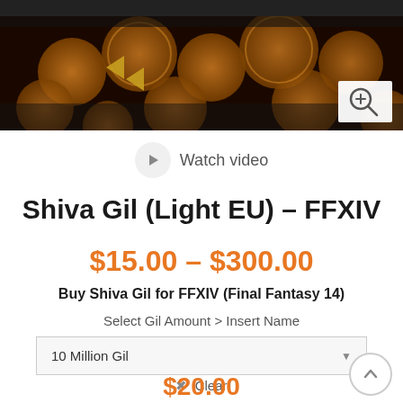[Figure (photo): Dark banner image showing gold coins with a logo (stylized G) in the top-left and www.vanilla.games text watermark, with a zoom/magnify button overlay in the upper right]
Watch video
Shiva Gil (Light EU) – FFXIV
$15.00 – $300.00
Buy Shiva Gil for FFXIV (Final Fantasy 14)
Select Gil Amount > Insert Name
10 Million Gil
✖ Clear
$20.00